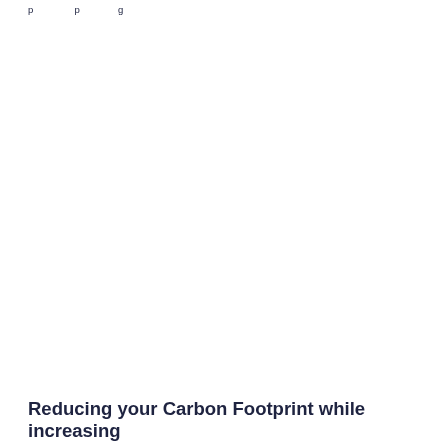p                p              g
Reducing your Carbon Footprint while increasing